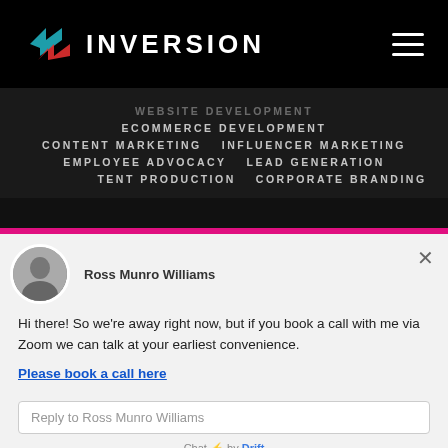[Figure (logo): Inversion logo with teal and red arrow icon and white INVERSION text on black background]
WEBSITE DEVELOPMENT
ECOMMERCE DEVELOPMENT
CONTENT MARKETING    INFLUENCER MARKETING
EMPLOYEE ADVOCACY    LEAD GENERATION
CONTENT PRODUCTION    CORPORATE BRANDING
EMAIL MARKETING
Ross Munro Williams
Hi there! So we're away right now, but if you book a call with me via Zoom we can talk at your earliest convenience.
Please book a call here
Reply to Ross Munro Williams
Chat ⚡ by Drift